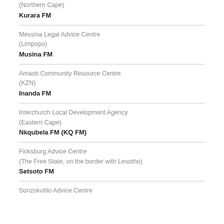(Northern Cape)
Kurara FM
Messina Legal Advice Centre
(Limpopo)
Musina FM
Amaoti Community Resource Centre
(KZN)
Inanda FM
Interchurch Local Development Agency
(Eastern Cape)
Nkqubela FM (KQ FM)
Ficksburg Advice Centre
(The Free State, on the border with Lesotho)
Setsoto FM
Sonzokuhlo Advice Centre